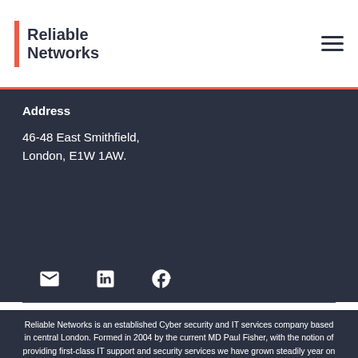[Figure (logo): Reliable Networks logo with red vertical bar and bold dark text]
Address
46-48 East Smithfield,
London, E1W 1AW.
[Figure (infographic): Social media icons: email, LinkedIn, Facebook]
Reliable Networks is an established Cyber security and IT services company based in central London. Formed in 2004 by the current MD Paul Fisher, with the notion of providing first-class IT support and security services we have grown steadily year on year through word of mouth and referrals. We have a great understanding of business and its Cyber security and IT requirements, which means that the solutions that we recommend will be scalable and provide you with systems that allow your staff to perform to their optimum